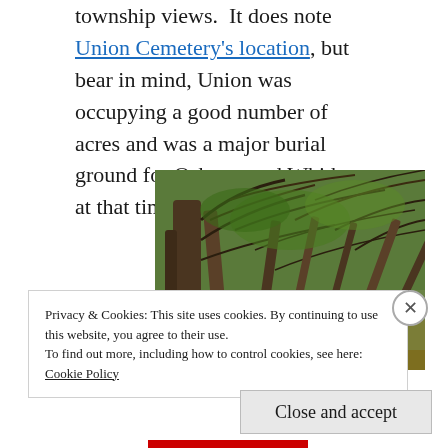township views.  It does note Union Cemetery's location, but bear in mind, Union was occupying a good number of acres and was a major burial ground for Oshawa and Whitby at that time.
[Figure (photo): A photograph of a wooded area with bare and leafy trees, natural forest scene]
Privacy & Cookies: This site uses cookies. By continuing to use this website, you agree to their use.
To find out more, including how to control cookies, see here: Cookie Policy
Close and accept